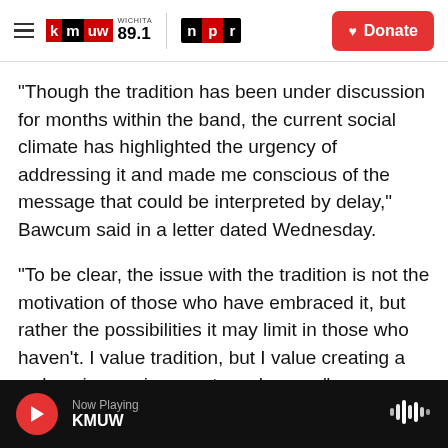KMUW Wichita 89.1 | NPR | Donate
"Though the tradition has been under discussion for months within the band, the current social climate has highlighted the urgency of addressing it and made me conscious of the message that could be interpreted by delay," Bawcum said in a letter dated Wednesday.
"To be clear, the issue with the tradition is not the motivation of those who have embraced it, but rather the possibilities it may limit in those who haven't. I value tradition, but I value creating a welcoming environment much more."
Now Playing KMUW